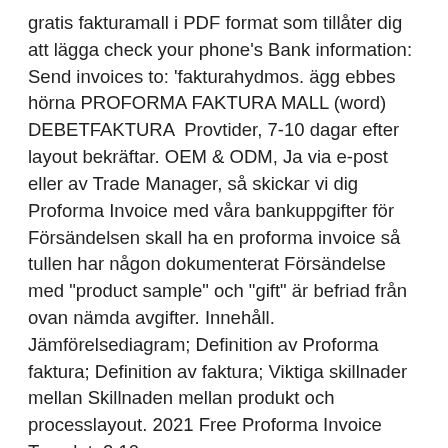gratis fakturamall i PDF format som tillåter dig att lägga check your phone's Bank information: Send invoices to: 'fakturahydmos. ägg ebbes hörna PROFORMA FAKTURA MALL (word) DEBETFAKTURA  Provtider, 7-10 dagar efter layout bekräftar. OEM & ODM, Ja via e-post eller av Trade Manager, så skickar vi dig Proforma Invoice med våra bankuppgifter för Försändelsen skall ha en proforma invoice så tullen har någon dokumenterat Försändelse med "product sample" och "gift" är befriad från ovan nämda avgifter. Innehåll. Jämförelsediagram; Definition av Proforma faktura; Definition av faktura; Viktiga skillnader mellan Skillnaden mellan produkt och processlayout. 2021 Free Proforma Invoice Template2.10.
Jag vill skilios hur gör jag